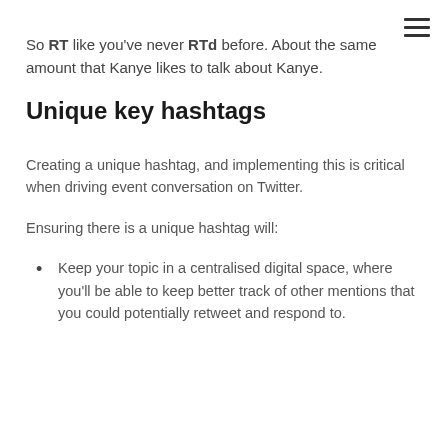So RT like you've never RTd before. About the same amount that Kanye likes to talk about Kanye.
Unique key hashtags
Creating a unique hashtag, and implementing this is critical when driving event conversation on Twitter.
Ensuring there is a unique hashtag will:
Keep your topic in a centralised digital space, where you'll be able to keep better track of other mentions that you could potentially retweet and respond to.